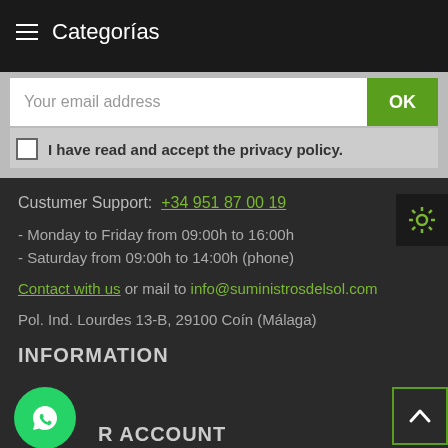≡  Categorías
Your email address
I have read and accept the privacy policy.
Custumer Support:  +34 951 87 00 19
- Monday to Friday from 09:00h to 16:00h
- Saturday from 09:00h to 14:00h (phone)
Contact with us or mail to info@suministrosdelsol.com
Pol. Ind. Lourdes 13-B, 29100 Coín (Málaga)
INFORMATION
R ACCOUNT